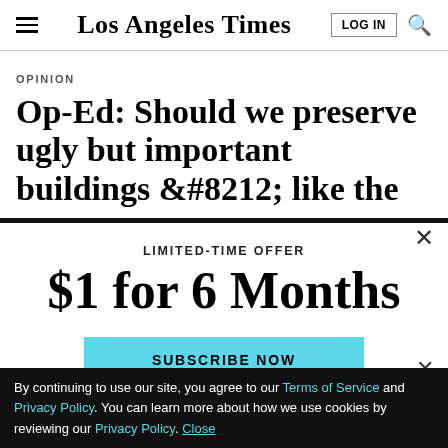Los Angeles Times
OPINION
Op-Ed: Should we preserve ugly but important buildings &#8212; like the
LIMITED-TIME OFFER
$1 for 6 Months
SUBSCRIBE NOW
By continuing to use our site, you agree to our Terms of Service and Privacy Policy. You can learn more about how we use cookies by reviewing our Privacy Policy. Close